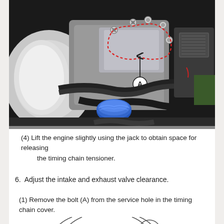[Figure (photo): Engine compartment photo showing timing chain cover area with bolts highlighted by red dashed outline. Label A points to a bolt with an arrow. Blue fluid reservoir cap visible in lower center.]
(4) Lift the engine slightly using the jack to obtain space for releasing the timing chain tensioner.
6.  Adjust the intake and exhaust valve clearance.
(1) Remove the bolt (A) from the service hole in the timing chain cover.
[Figure (engineering-diagram): Line drawing showing partial view of timing chain cover with bolt hole and circular service hole opening, partially visible at bottom of page.]